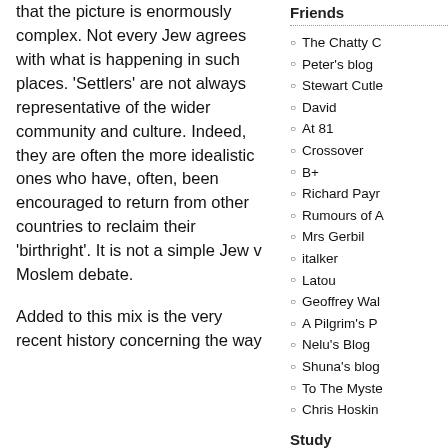that the picture is enormously complex. Not every Jew agrees with what is happening in such places. 'Settlers' are not always representative of the wider community and culture. Indeed, they are often the more idealistic ones who have, often, been encouraged to return from other countries to reclaim their 'birthright'. It is not a simple Jew v Moslem debate.
Added to this mix is the very recent history concerning the way
Friends
The Chatty C
Peter's blog
Stewart Cutle
David
At 81
Crossover
B+
Richard Payr
Rumours of A
Mrs Gerbil
italker
Latou
Geoffrey Wal
A Pilgrim's P
Nelu's Blog
Shuna's blog
To The Myste
Chris Hoskin
Study